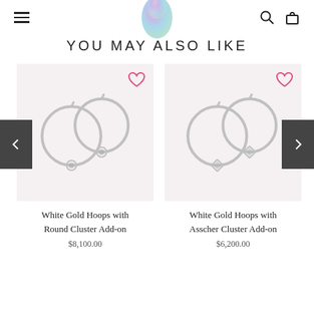[Figure (logo): Navigation bar with hamburger menu icon on left, colorful gradient egg-shaped logo in center, search and shopping bag icons on right]
YOU MAY ALSO LIKE
[Figure (photo): White gold hoop earrings with round cluster add-on on light pink/grey background, with heart wishlist icon]
White Gold Hoops with Round Cluster Add-on
$8,100.00
[Figure (photo): White gold hoop earrings with Asscher cluster add-on on light pink/grey background, with heart wishlist icon]
White Gold Hoops with Asscher Cluster Add-on
$6,200.00